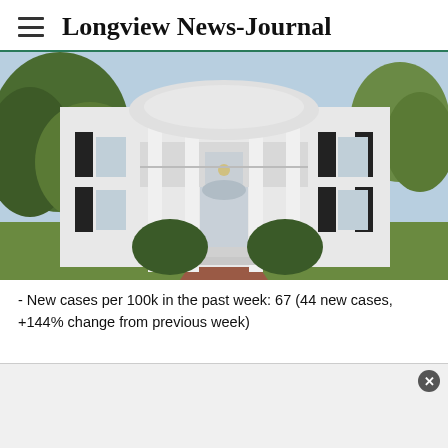Longview News-Journal
[Figure (photo): Large white Southern colonial mansion with tall columns, black shutters, brick walkway, and surrounding trees and shrubs.]
- New cases per 100k in the past week: 67 (44 new cases, +144% change from previous week)